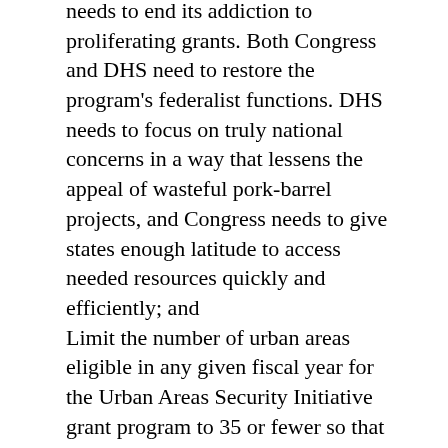needs to end its addiction to proliferating grants. Both Congress and DHS need to restore the program's federalist functions. DHS needs to focus on truly national concerns in a way that lessens the appeal of wasteful pork-barrel projects, and Congress needs to give states enough latitude to access needed resources quickly and efficiently; and
Limit the number of urban areas eligible in any given fiscal year for the Urban Areas Security Initiative grant program to 35 or fewer so that funds for the highest risk urban areas do not continue to be diluted by spreading the wealth allocations.
Question #6: The 100 Percent Cargo Scanning Mandate
Please describe your views as to whether 100 percent